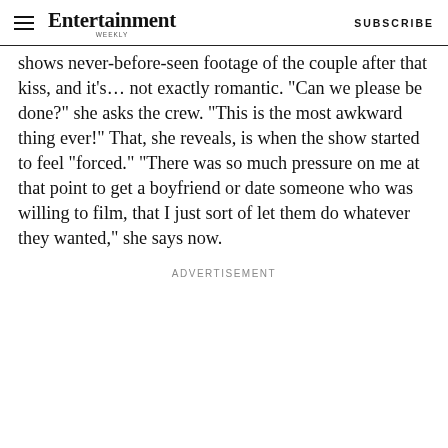Entertainment Weekly — SUBSCRIBE
shows never-before-seen footage of the couple after that kiss, and it’s… not exactly romantic. “Can we please be done?” she asks the crew. “This is the most awkward thing ever!” That, she reveals, is when the show started to feel “forced.” “There was so much pressure on me at that point to get a boyfriend or date someone who was willing to film, that I just sort of let them do whatever they wanted,” she says now.
ADVERTISEMENT